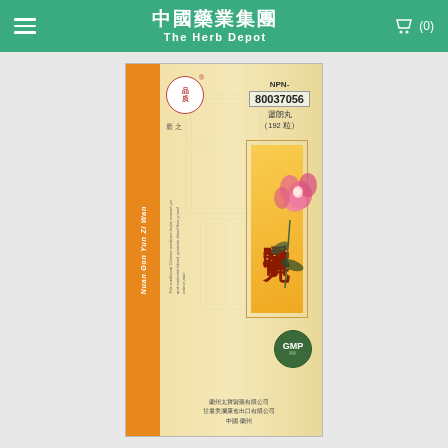中國藥業集團 The Herb Depot
[Figure (photo): Product box of Nuan Gong Yun Zi Wan (暖宮孕子丸), a traditional Chinese medicine. The box shows NPN-80037056, 192 pills (192粒), with Chinese text, a pink flower illustration, GMP badge, and manufacturer information from Lanzhou, Gansu, China.]